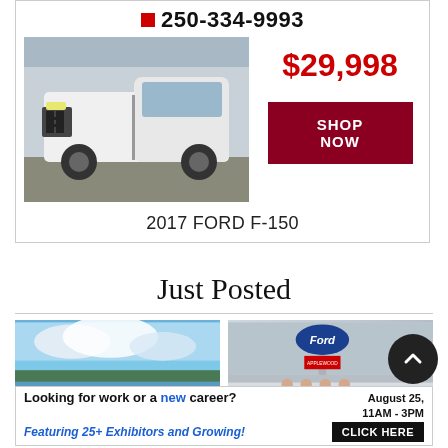250-334-9993
$29,998
SHOP NOW
[Figure (photo): White 2017 Ford F-150 pickup truck parked in a lot]
2017 FORD F-150
Just Posted
[Figure (photo): Group of cyclists in blue and yellow jerseys standing near a waterfront with mountains in background]
[Figure (photo): People standing in front of a Ford dealership sign (Applewood Ford) holding a large check]
Looking for work or a new career? August 25, 11AM - 3PM Featuring 25+ Exhibitors and Growing! CLICK HERE